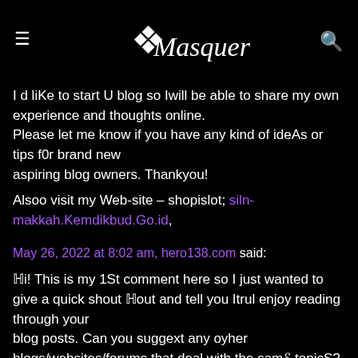Masquerade
I d liKe to start U blog so Iwill be able to share my own experience and thoughts online.
Please let me know if you have any kind of ideAs or tips f0r brand new
aspiring blog owners. Thankyou!
Alsoo visit my Web-site – shopislot; siln-makkah.Kemdikbud.Go.id,
May 26, 2022 at 8:02 am, hero138.com said:
ℍi! This is my 1St comment here so I just wanted to give a quick shout ℍout and tell you Itrul enjoy reading through your
blog posts. Can you suggext any oyher blogs/websites/forums that deal with the samℰ topicS?